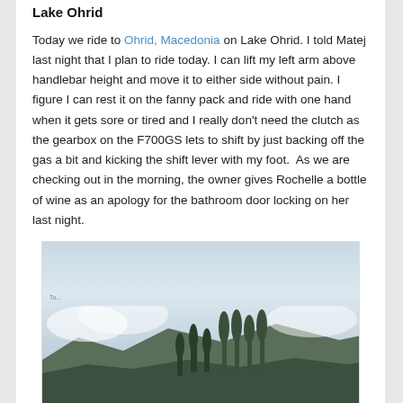Lake Ohrid
Today we ride to Ohrid, Macedonia on Lake Ohrid. I told Matej last night that I plan to ride today. I can lift my left arm above handlebar height and move it to either side without pain. I figure I can rest it on the fanny pack and ride with one hand when it gets sore or tired and I really don't need the clutch as the gearbox on the F700GS lets to shift by just backing off the gas a bit and kicking the shift lever with my foot.  As we are checking out in the morning, the owner gives Rochelle a bottle of wine as an apology for the bathroom door locking on her last night.
[Figure (photo): Outdoor landscape photo showing a cloudy sky with mountains and tall trees (cypresses and poplars) in the foreground, near Lake Ohrid, Macedonia.]